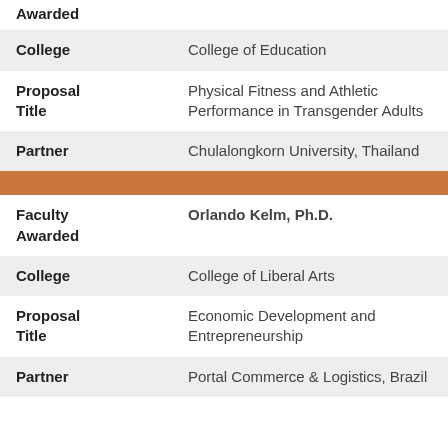| Field | Value |
| --- | --- |
| Faculty Awarded | (partial/cut off at top) |
| College | College of Education |
| Proposal Title | Physical Fitness and Athletic Performance in Transgender Adults |
| Partner | Chulalongkorn University, Thailand |
| Faculty Awarded | Orlando Kelm, Ph.D. |
| College | College of Liberal Arts |
| Proposal Title | Economic Development and Entrepreneurship |
| Partner | Portal Commerce & Logistics, Brazil |